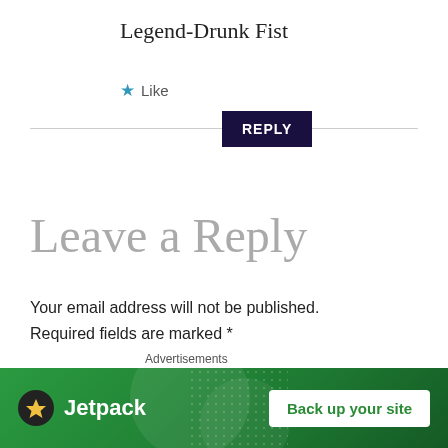Legend-Drunk Fist
★ Like
REPLY
Leave a Reply
Your email address will not be published. Required fields are marked *
COMMENT *
[Figure (other): Jetpack advertisement banner with 'Back up your site' button]
Advertisements